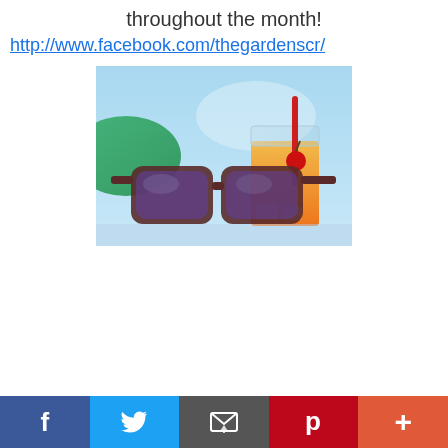throughout the month!
http://www.facebook.com/thegardenscr/
[Figure (photo): Summer photo showing sunglasses and an orange cocktail drink with a red straw and cherry, blue sky background with green umbrella]
Social share bar: Facebook, Twitter, Email, Pinterest, Plus